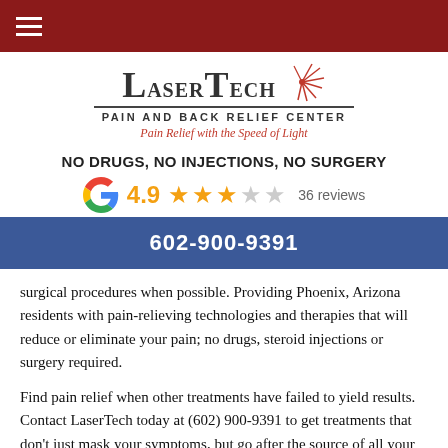LaserTech Pain and Back Relief Center — navigation bar
[Figure (logo): LaserTech Pain and Back Relief Center logo with red starburst graphic, subtitle 'PAIN AND BACK RELIEF CENTER', tagline 'Pain Relief with the Speed of Light']
NO DRUGS, NO INJECTIONS, NO SURGERY
[Figure (infographic): Google logo with 4.9 rating, 3 filled gold stars, 2 empty stars, 36 reviews]
602-900-9391
surgical procedures when possible. Providing Phoenix, Arizona residents with pain-relieving technologies and therapies that will reduce or eliminate your pain; no drugs, steroid injections or surgery required.
Find pain relief when other treatments have failed to yield results. Contact LaserTech today at (602) 900-9391 to get treatments that don't just mask your symptoms, but go after the source of all your pain.